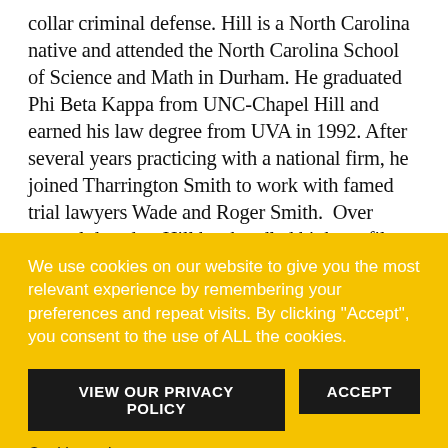collar criminal defense. Hill is a North Carolina native and attended the North Carolina School of Science and Math in Durham. He graduated Phi Beta Kappa from UNC-Chapel Hill and earned his law degree from UVA in 1992. After several years practicing with a national firm, he joined Tharrington Smith to work with famed trial lawyers Wade and Roger Smith.  Over several decades, Hill has handled high-profile cases and solved difficult problems for everyone from statewide public officials to Fortune 100 companies to business executives and professionals charged or under investigation to the families of those killed in aviation,
We use cookies on our website to give you the most relevant experience by remembering your preferences and repeat visits. By clicking "Accept", you consent to the use of ALL the cookies.
VIEW OUR PRIVACY POLICY
ACCEPT
Cookie settings